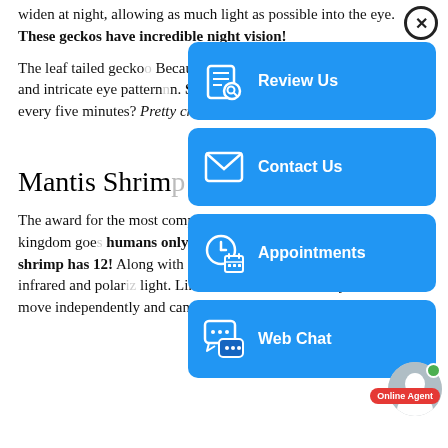widen at night, allowing as much light as possible into the eye. These geckos have incredible night vision!
The leaf tailed gecko... Because of this, they often have very detailed and intricate eye patterns. Since it can't blink, they clean their eyes with their tongues! Can... every five minutes? Pretty crazy.
Mantis Shrim...
The award for the most complex visual system in the animal kingdom goes... humans only have ... the mantis shrimp has 12! Along with color, eyes can detect ultraviolet, infrared and polarized light. Like the chameleon, each eye has the ability to move independently and can rotate up to 70 degrees.
[Figure (screenshot): Blue overlay panel with four action buttons: Review Us (document/magnifier icon), Contact Us (envelope icon), Appointments (calendar/clock icon), Web Chat (chat bubble icon). A close (X) button appears top right. An online agent avatar with green dot and red 'Online Agent' badge appears bottom right.]